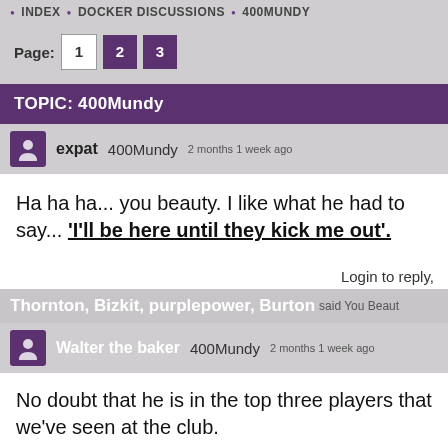INDEX • DOCKER DISCUSSIONS • 400MUNDY
Page: 1 2 3
TOPIC: 400Mundy
expat  400Mundy  2 months 1 week ago
Ha ha ha... you beauty. I like what he had to say... 'I'll be here until they kick me out'.
Login to reply,
Thornton, Bizkit, purplepower, Burton said You Beaut
Walter the baker  400Mundy  2 months 1 week ago
No doubt that he is in the top three players that we've seen at the club.